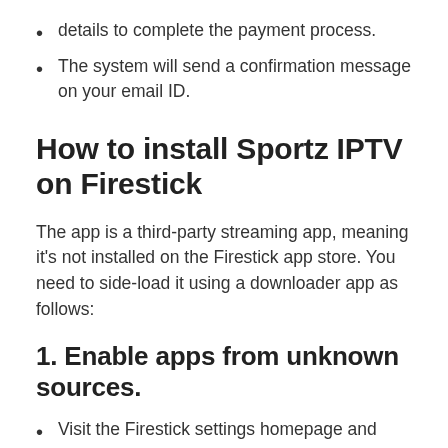details to complete the payment process.
The system will send a confirmation message on your email ID.
How to install Sportz IPTV on Firestick
The app is a third-party streaming app, meaning it’s not installed on the Firestick app store. You need to side-load it using a downloader app as follows:
1. Enable apps from unknown sources.
Visit the Firestick settings homepage and scroll